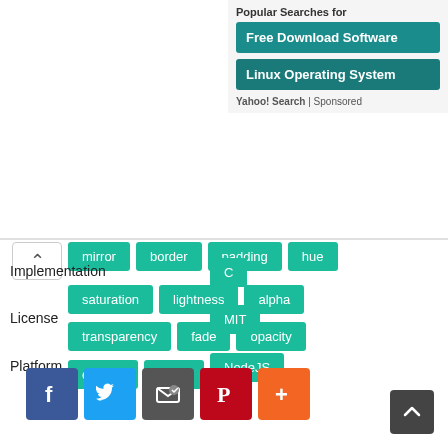Popular Searches for
Free Download Software
Linux Operating System
Yahoo! Search | Sponsored
mirror
border
padding
hue
saturation
lightness
alpha
transparency
fade
opacity
contain
cover
Implementation
C
License
MIT
Platform
NodeJS